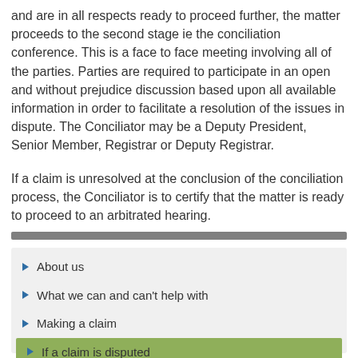and are in all respects ready to proceed further, the matter proceeds to the second stage ie the conciliation conference.  This is a face to face meeting involving all of the parties.  Parties are required to participate in an open and without prejudice discussion based upon all available information in order to facilitate a resolution of the issues in dispute.   The Conciliator may be a Deputy President, Senior Member, Registrar or Deputy Registrar.
If a claim is unresolved at the conclusion of the conciliation process, the Conciliator is to certify that the matter is ready to proceed to an arbitrated hearing.
About us
What we can and can't help with
Making a claim
If a claim is disputed